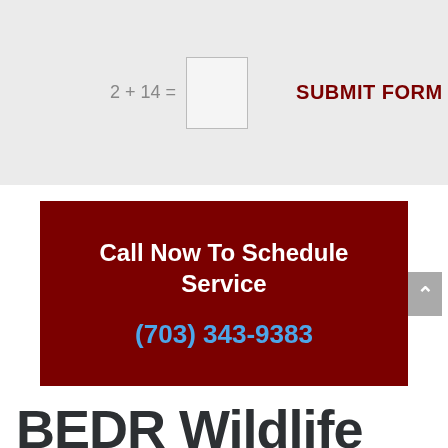2 + 14 =
SUBMIT FORM
Call Now To Schedule Service
(703) 343-9383
BEDR Wildlife